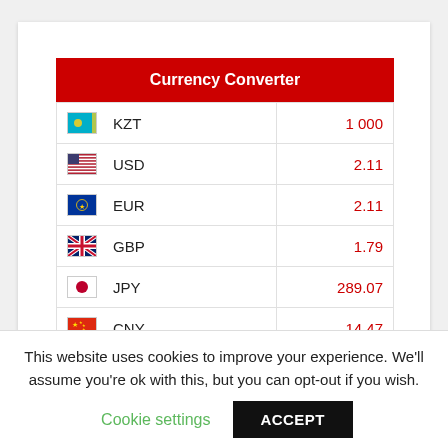| Flag | Currency | Value |
| --- | --- | --- |
| 🇰🇿 | KZT | 1 000 |
| 🇺🇸 | USD | 2.11 |
| 🇪🇺 | EUR | 2.11 |
| 🇬🇧 | GBP | 1.79 |
| 🇯🇵 | JPY | 289.07 |
| 🇨🇳 | CNY | 14.47 |
| 🇷🇺 | RUB | 126.40 |
This website uses cookies to improve your experience. We'll assume you're ok with this, but you can opt-out if you wish.